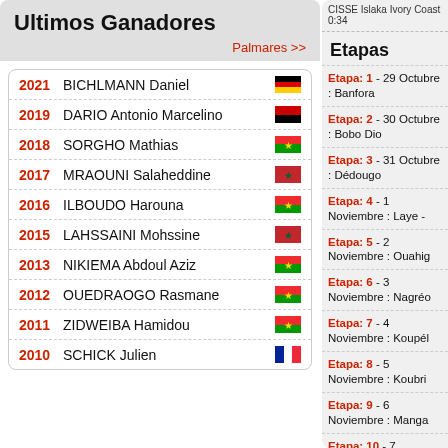Ultimos Ganadores
Palmares >>
2021 BICHLMANN Daniel [Germany]
2019 DARIO Antonio Marcelino [Angola]
2018 SORGHO Mathias [Burkina Faso]
2017 MRAOUNI Salaheddine [Morocco]
2016 ILBOUDO Harouna [Burkina Faso]
2015 LAHSSAINI Mohssine [Morocco]
2013 NIKIEMA Abdoul Aziz [Burkina Faso]
2012 OUEDRAOGO Rasmane [Burkina Faso]
2011 ZIDWEIBA Hamidou [Burkina Faso]
2010 SCHICK Julien [France]
CISSE Islaka Ivory Coast 0:34
Etapas
Etapa: 1 - 29 Octubre : Banfora
Etapa: 2 - 30 Octubre : Bobo Dio
Etapa: 3 - 31 Octubre : Dédougo
Etapa: 4 - 1 Noviembre : Laye -
Etapa: 5 - 2 Noviembre : Ouahig
Etapa: 6 - 3 Noviembre : Nagréo
Etapa: 7 - 4 Noviembre : Koupél
Etapa: 8 - 5 Noviembre : Koubri
Etapa: 9 - 6 Noviembre : Manga
Etapa: 10 - 7 Noviembre : Komb